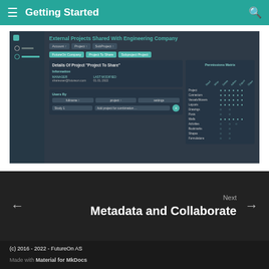Getting Started
[Figure (screenshot): Screenshot of application showing External Projects Shared With Engineering Company panel and Details Of Project 'Project To Share' with permissions matrix]
Next
Metadata and Collaborate
(c) 2016 - 2022 - FutureOn AS
Made with Material for MkDocs